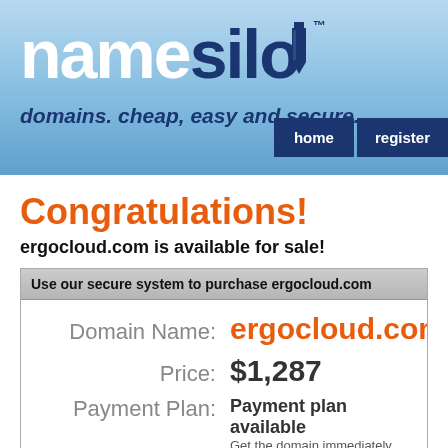[Figure (logo): NameSilo logo with pencil icon and tagline 'domains. cheap, easy and secure.' with home and register navigation buttons]
Congratulations!
ergocloud.com is available for sale!
| Domain Name: | ergocloud.com |
| Price: | $1,287 |
| Payment Plan: | Payment plan available
Get the domain immediately after dow... |
[Figure (other): BUY NOW button with shopping cart icon and green chat circle]